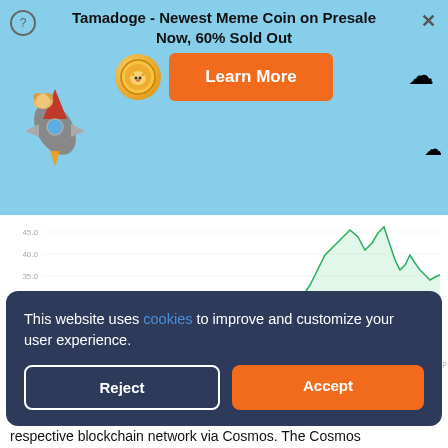[Figure (infographic): Tamadoge advertisement banner with sky blue background, rocket with dog character, coin logo, and orange Learn More button]
Tamadoge - Newest Meme Coin on Presale Now, 60% Sold Out
[Figure (line-chart): CoinMarketCap price chart showing cryptocurrency price over time from 2020 to 2022, with a red line near bottom and a green line that spikes sharply upward toward the right side. Y-axis shows values from 0 to 45.0. X-axis shows dates from Apr 2020 to 2022.]
This website uses cookies to improve and customize your user experience.
respective blockchain network via Cosmos. The Cosmos